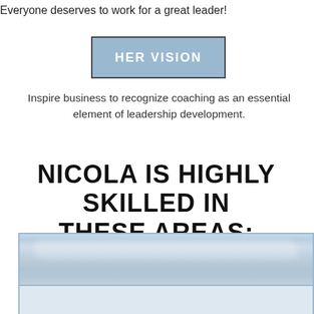Everyone deserves to work for a great leader!
HER VISION
Inspire business to recognize coaching as an essential element of leadership development.
NICOLA IS HIGHLY SKILLED IN THESE AREAS:
[Figure (photo): Sky photo with clouds, inside a light blue bordered rectangle frame that has a white/light blue lower section]